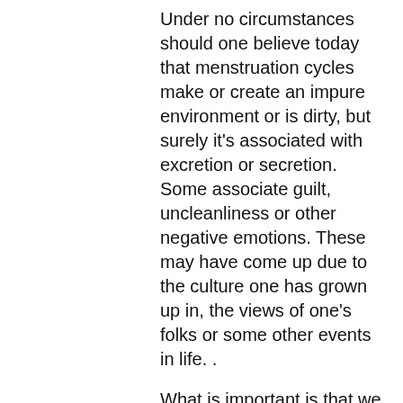Under no circumstances should one believe today that menstruation cycles make or create an impure environment or is dirty, but surely it's associated with excretion or secretion. Some associate guilt, uncleanliness or other negative emotions. These may have come up due to the culture one has grown up in, the views of one's folks or some other events in life. .
What is important is that we listen to our bodies during this time.
So here's a rational explanation why mantras or spiritual chants are better avoided during the